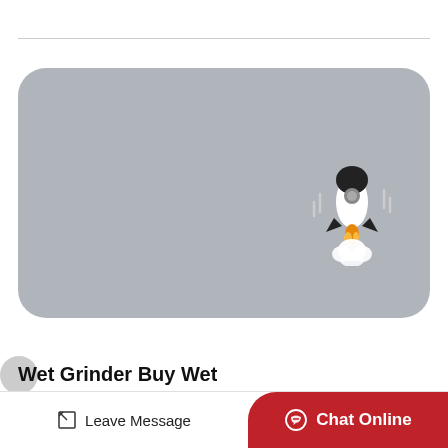[Figure (illustration): Large light gray rounded rectangle placeholder image area with a rocket ship illustration in the bottom-right corner. The rocket is white and black with an orange flame and white smoke cloud beneath it, with motion lines on either side. A thin horizontal line appears at the top of the page.]
Wet Grinder Buy Wet
Leave Message
Chat Online